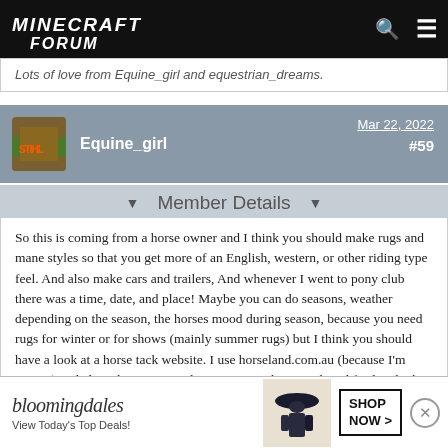MINECRAFT FORUM
Lots of love from Equine_girl and equestrian_dreams.
Equine_girl   Mar 22, 2022   #59
Member Details
So this is coming from a horse owner and I think you should make rugs and mane styles so that you get more of an English, western, or other riding type feel. And also make cars and trailers, And whenever I went to pony club there was a time, date, and place! Maybe you can do seasons, weather depending on the season, the horses mood during season, because you need rugs for winter or for shows (mainly summer rugs) but I think you should have a look at a horse tack website. I use horseland.com.au (because I'm Aussie) and also where are people going to get horse tack and feed and other horse supplies, and you should make human riding clothes and supplies like food and water.
I hope you add and like these ideas.
Lots of
[Figure (other): Bloomingdales advertisement banner: 'View Today's Top Deals!' with SHOP NOW button and woman in hat image]